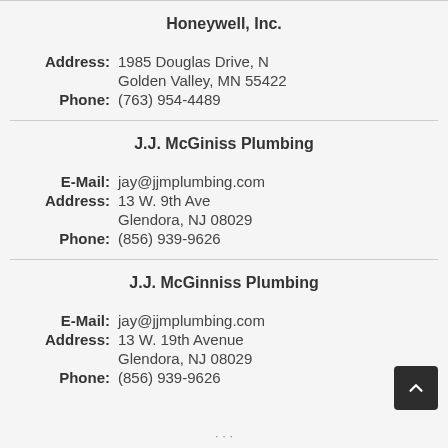Honeywell, Inc.
Address: 1985 Douglas Drive, N
Golden Valley, MN 55422
Phone: (763) 954-4489
J.J. McGiniss Plumbing
E-Mail: jay@jjmplumbing.com
Address: 13 W. 9th Ave
Glendora, NJ 08029
Phone: (856) 939-9626
J.J. McGinniss Plumbing
E-Mail: jay@jjmplumbing.com
Address: 13 W. 19th Avenue
Glendora, NJ 08029
Phone: (856) 939-9626